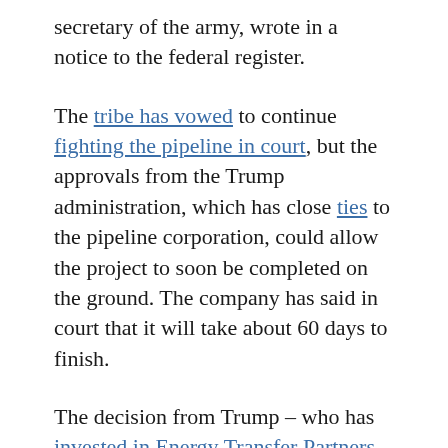secretary of the army, wrote in a notice to the federal register.
The tribe has vowed to continue fighting the pipeline in court, but the approvals from the Trump administration, which has close ties to the pipeline corporation, could allow the project to soon be completed on the ground. The company has said in court that it will take about 60 days to finish.
The decision from Trump – who has invested in Energy Transfer Partners and accepted donations from the oil company's CEO – comes nearly a year after Native American activists and